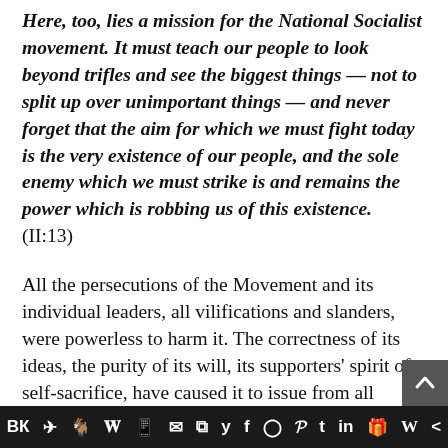Here, too, lies a mission for the National Socialist movement. It must teach our people to look beyond trifles and see the biggest things — not to split up over unimportant things — and never forget that the aim for which we must fight today is the very existence of our people, and the sole enemy which we must strike is and remains the power which is robbing us of this existence. (II:13)
All the persecutions of the Movement and its individual leaders, all vilifications and slanders, were powerless to harm it. The correctness of its ideas, the purity of its will, its supporters' spirit of self-sacrifice, have caused it to issue from all